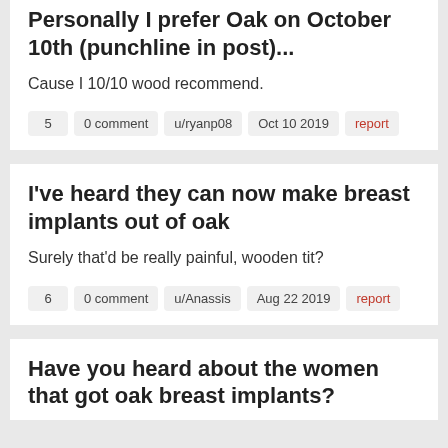Personally I prefer Oak on October 10th (punchline in post)...
Cause I 10/10 wood recommend.
5   0 comment   u/ryanp08   Oct 10 2019   report
I've heard they can now make breast implants out of oak
Surely that'd be really painful, wooden tit?
6   0 comment   u/Anassis   Aug 22 2019   report
Have you heard about the women that got oak breast implants?